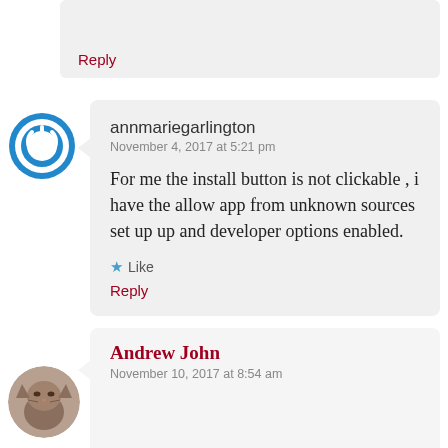Reply
annmariegarlington
November 4, 2017 at 5:21 pm

For me the install button is not clickable , i have the allow app from unknown sources set up up and developer options enabled.

★ Like
Reply
Andrew John
November 10, 2017 at 8:54 am